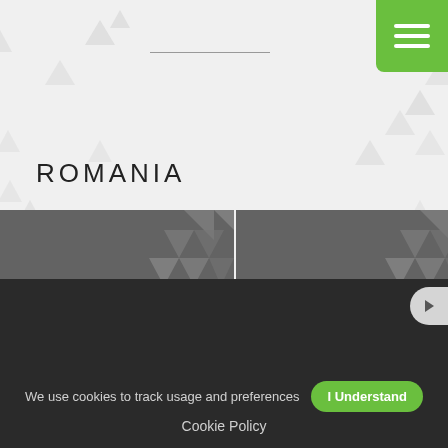ROMANIA
[Figure (other): Job listing card: Customer Management Advisor - German, dark grey background with triangle pattern]
[Figure (other): Job listing card: Business Operations Analyst (in French), dark grey background with triangle pattern]
We use cookies to track usage and preferences  I Understand
Cookie Policy